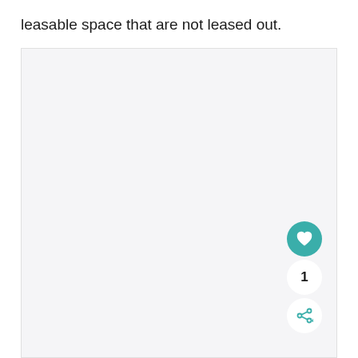leasable space that are not leased out.
[Figure (other): Large light gray empty box occupying most of the page, with UI buttons (heart/like button in teal, count of 1, and share button) in the bottom right corner.]